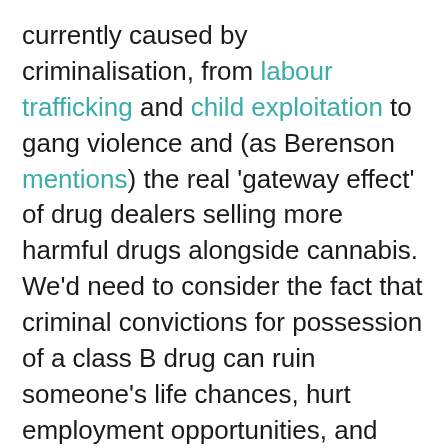currently caused by criminalisation, from labour trafficking and child exploitation to gang violence and (as Berenson mentions) the real 'gateway effect' of drug dealers selling more harmful drugs alongside cannabis. We'd need to consider the fact that criminal convictions for possession of a class B drug can ruin someone's life chances, hurt employment opportunities, and damage their mental health. We'd need to examine how cannabis users substituting for powerful synthetic cannabinoids (children of prohibition) such as Spice may lead to more mental health harms. We'd need to factor in substitution effects between cannabis and alcohol. And we should